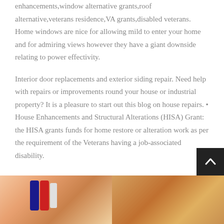enhancements,window alternative grants,roof alternative,veterans residence,VA grants,disabled veterans. Home windows are nice for allowing mild to enter your home and for admiring views however they have a giant downside relating to power effectivity.
Interior door replacements and exterior siding repair. Need help with repairs or improvements round your house or industrial property? It is a pleasure to start out this blog on house repairs. • House Enhancements and Structural Alterations (HISA) Grant: the HISA grants funds for home restore or alteration work as per the requirement of the Veterans having a job-associated disability.
[Figure (photo): Photo of home repair tools or equipment, showing red and blue tubes/hoses against a light background]
[Figure (photo): Photo showing food or materials on a dark surface with hands/tools visible]